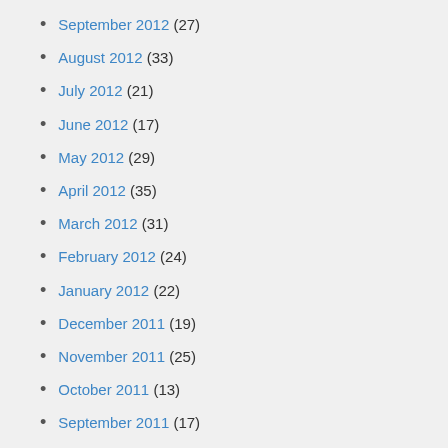September 2012 (27)
August 2012 (33)
July 2012 (21)
June 2012 (17)
May 2012 (29)
April 2012 (35)
March 2012 (31)
February 2012 (24)
January 2012 (22)
December 2011 (19)
November 2011 (25)
October 2011 (13)
September 2011 (17)
August 2011 (13)
July 2011 (21)
June 2011 (22)
May 2011 (19)
April 2011 (23)